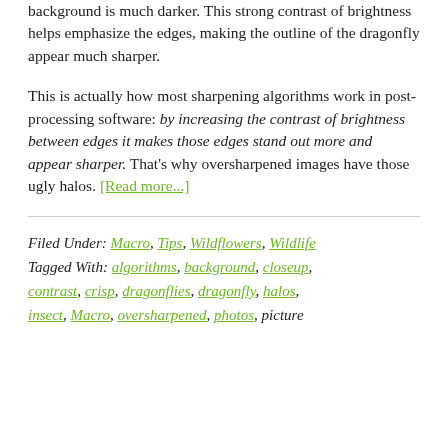background is much darker. This strong contrast of brightness helps emphasize the edges, making the outline of the dragonfly appear much sharper.
This is actually how most sharpening algorithms work in post-processing software: by increasing the contrast of brightness between edges it makes those edges stand out more and appear sharper. That's why oversharpened images have those ugly halos. [Read more...]
Filed Under: Macro, Tips, Wildflowers, Wildlife Tagged With: algorithms, background, closeup, contrast, crisp, dragonflies, dragonfly, halos, insect, Macro, oversharpened, photos, picture